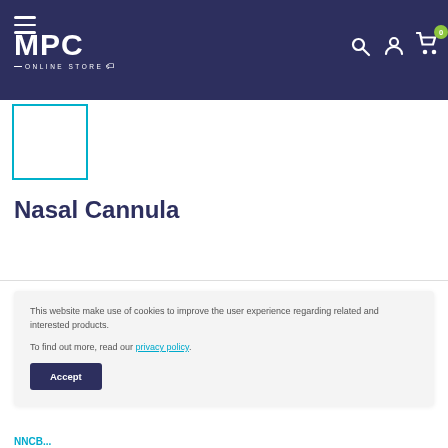MPC ONLINE STORE
[Figure (other): Product thumbnail placeholder — teal border empty white box]
Nasal Cannula
This website make use of cookies to improve the user experience regarding related and interested products.

To find out more, read our privacy policy.

Accept